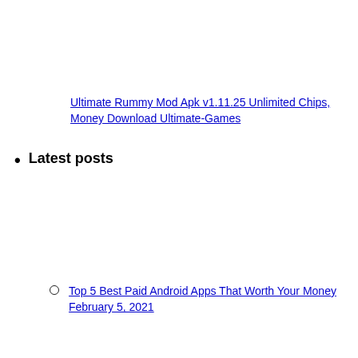Ultimate Rummy Mod Apk v1.11.25 Unlimited Chips, Money Download Ultimate-Games
Latest posts
Top 5 Best Paid Android Apps That Worth Your Money February 5, 2021